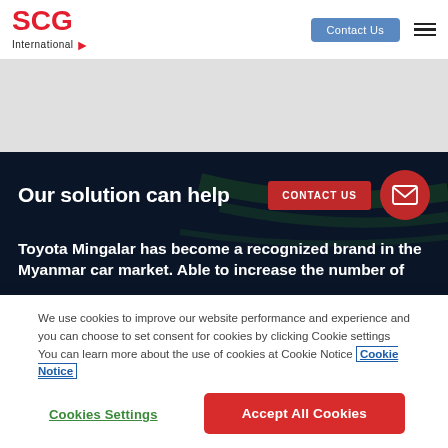SCG International — Contact Us navigation header
Our solution can help
Toyota Mingalar has become a recognized brand in the Myanmar car market. Able to increase the number of
We use cookies to improve our website performance and experience and you can choose to set consent for cookies by clicking Cookie settings You can learn more about the use of cookies at Cookie Notice Cookie Notice
Cookies Settings
Accept All Cookies